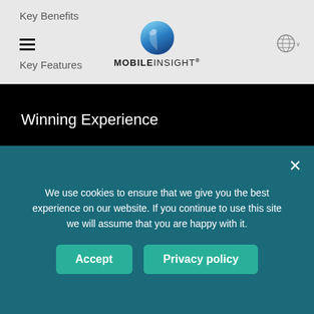Key Benefits | Key Features | Mobile Insight navigation header
Winning Experience
Gallery
Patents
RESOURCES
ABOUT US
Blog
Videos
Mission
Retail 4.0 Vision
We use cookies to ensure that we give you the best experience on our website. If you continue to use this site we will assume that you are happy with it.